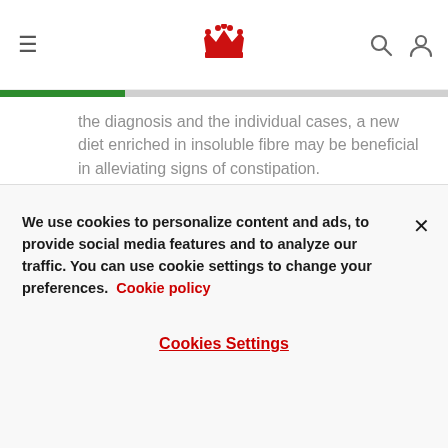Royal Canin header with hamburger menu, crown logo, search and account icons
the diagnosis and the individual cases, a new diet enriched in insoluble fibre may be beneficial in alleviating signs of constipation.
Be sure to check with your vet if you have any questions about your dog's GI symptoms and to help keep your dog's system functioning smoothly.
We use cookies to personalize content and ads, to provide social media features and to analyze our traffic. You can use cookie settings to change your preferences. Cookie policy
Cookies Settings